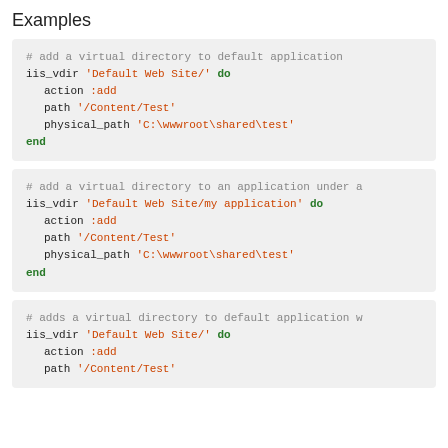Examples
# add a virtual directory to default application
iis_vdir 'Default Web Site/' do
  action :add
  path '/Content/Test'
  physical_path 'C:\wwwroot\shared\test'
end
# add a virtual directory to an application under a
iis_vdir 'Default Web Site/my application' do
  action :add
  path '/Content/Test'
  physical_path 'C:\wwwroot\shared\test'
end
# adds a virtual directory to default application w
iis_vdir 'Default Web Site/' do
  action :add
  path '/Content/Test'